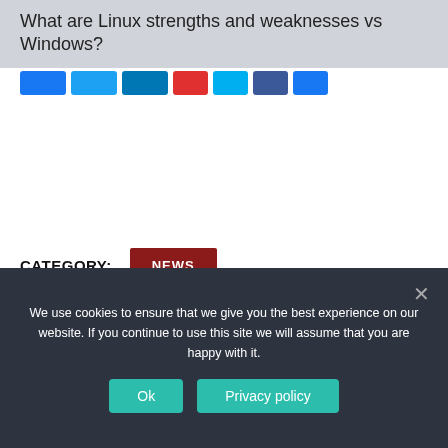What are Linux strengths and weaknesses vs Windows?
[Figure (other): Social media share buttons: Facebook, Twitter, LinkedIn, Google+, and other sharing icons in blue, red, and light blue colors]
CATEGORY:  NEWS
← PREVIOUS ARTICLE
What is another word for sniper?
NEXT ARTICLE →
Is BTS V still color blind?
We use cookies to ensure that we give you the best experience on our website. If you continue to use this site we will assume that you are happy with it.